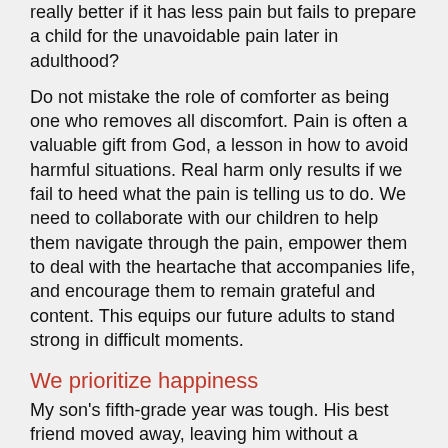really better if it has less pain but fails to prepare a child for the unavoidable pain later in adulthood?
Do not mistake the role of comforter as being one who removes all discomfort. Pain is often a valuable gift from God, a lesson in how to avoid harmful situations. Real harm only results if we fail to heed what the pain is telling us to do. We need to collaborate with our children to help them navigate through the pain, empower them to deal with the heartache that accompanies life, and encourage them to remain grateful and content. This equips our future adults to stand strong in difficult moments.
We prioritize happiness
My son's fifth-grade year was tough. His best friend moved away, leaving him without a classmate who shared his interests. Our fun-loving son grew quiet and reserved. He wasn't gifted at sports, so recess became a lonely time. He never complained, but my wife and I could tell he was miserable. When we asked what he did on the playground, he replied, "Oh, I just walk around by myself." I cringed. And I began trying to "fix" the problem. What steps could we take to make recess more fun?